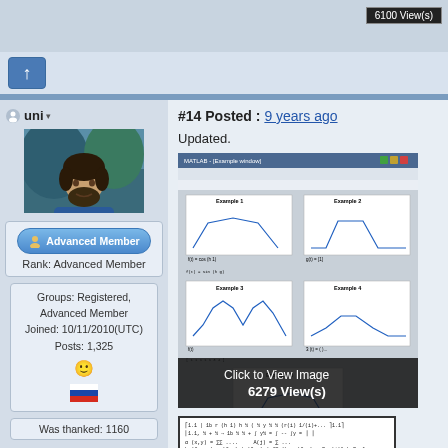6100 View(s)
#14 Posted : 9 years ago
Updated.
[Figure (screenshot): Screenshot of a MATLAB/software window showing 5 example plots labeled Example 1 through Example 5, with various waveform graphs. Overlay text: Click to View Image, 6279 View(s)]
[Figure (screenshot): Screenshot of a mathematical document with matrices and equations]
uni
Rank: Advanced Member
Groups: Registered, Advanced Member
Joined: 10/11/2010(UTC)
Posts: 1,325
Was thanked: 1160